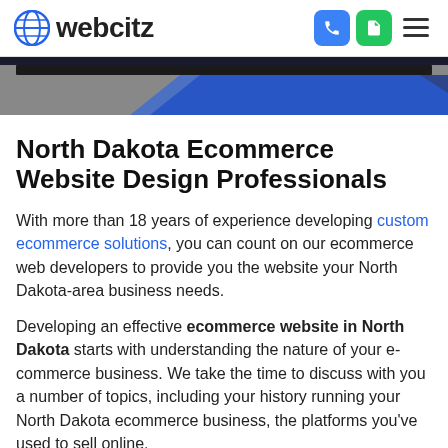webcitz
[Figure (photo): Hero banner image showing partial face/person with dark background and blue diagonal graphic overlay]
North Dakota Ecommerce Website Design Professionals
With more than 18 years of experience developing custom ecommerce solutions, you can count on our ecommerce web developers to provide you the website your North Dakota-area business needs.
Developing an effective ecommerce website in North Dakota starts with understanding the nature of your e-commerce business. We take the time to discuss with you a number of topics, including your history running your North Dakota ecommerce business, the platforms you've used to sell online,